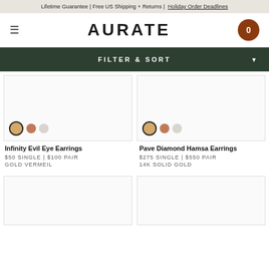Lifetime Guarantee | Free US Shipping + Returns | Holiday Order Deadlines
AURATE
FILTER & SORT
[Figure (screenshot): Product image area for Infinity Evil Eye Earrings with gold, rose, and white color swatches]
Infinity Evil Eye Earrings
$50 SINGLE | $100 PAIR
GOLD VERMEIL
[Figure (screenshot): Product image area for Pave Diamond Hamsa Earrings with gold, rose, and white color swatches]
Pave Diamond Hamsa Earrings
$275 SINGLE | $550 PAIR
14K SOLID GOLD
[Figure (screenshot): Partial product image area bottom left]
[Figure (screenshot): Partial product image area bottom right]